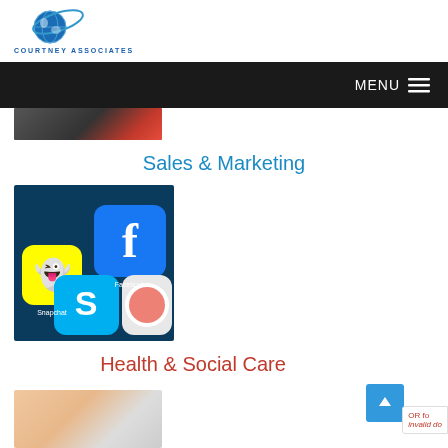[Figure (logo): Courtney Associates globe/orbit logo with text COURTNEY ASSOCIATES below]
MENU ≡
[Figure (photo): Partial cropped image at top, dark tones with red element]
Sales & Marketing
[Figure (photo): Social media app icons including Snapchat, Facebook, and Skype on a smartphone screen]
Health & Social Care
[Figure (photo): Partial image at bottom, appears to show a person]